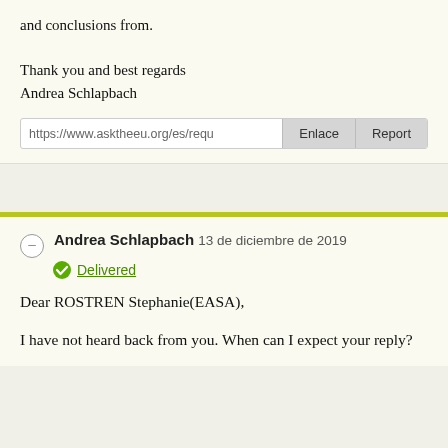and conclusions from.

Thank you and best regards
Andrea Schlapbach
https://www.asktheeu.org/es/requ  Enlace  Report
Andrea Schlapbach 13 de diciembre de 2019
Delivered
Dear ROSTREN Stephanie(EASA),

I have not heard back from you. When can I expect your reply?